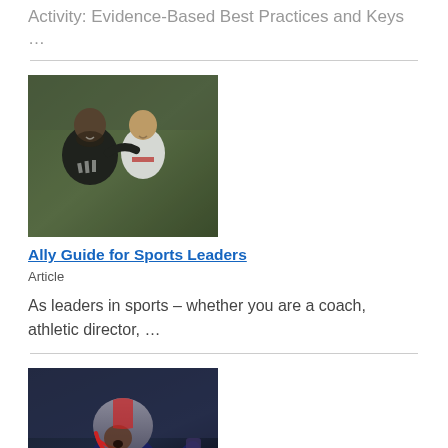Activity: Evidence-Based Best Practices and Keys …
[Figure (photo): A coach with his arm around a young soccer player, both smiling, outdoors on a field.]
Ally Guide for Sports Leaders
Article
As leaders in sports – whether you are a coach, athletic director, …
[Figure (photo): A football player in a dark navy and red helmet and uniform, number 32, gesturing on the field with crowd in background.]
Devin McCourty: Leadership, Relationships, Self-